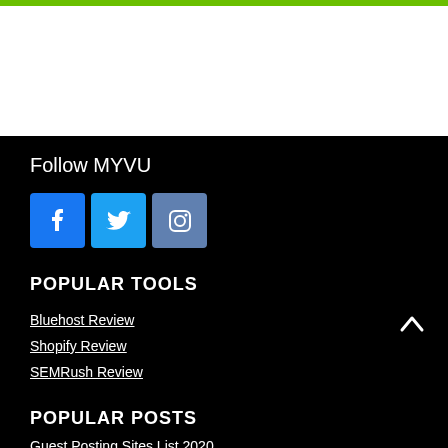Follow MYVU
[Figure (illustration): Social media icons: Facebook (blue), Twitter (light blue), Instagram (blue-grey)]
POPULAR TOOLS
Bluehost Review
Shopify Review
SEMRush Review
POPULAR POSTS
Guest Posting Sites List 2020